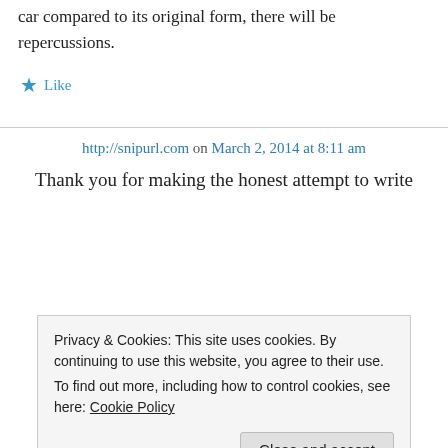car compared to its original form, there will be repercussions.
★ Like
http://snipurl.com on March 2, 2014 at 8:11 am
Thank you for making the honest attempt to write
Privacy & Cookies: This site uses cookies. By continuing to use this website, you agree to their use.
To find out more, including how to control cookies, see here: Cookie Policy
Close and accept